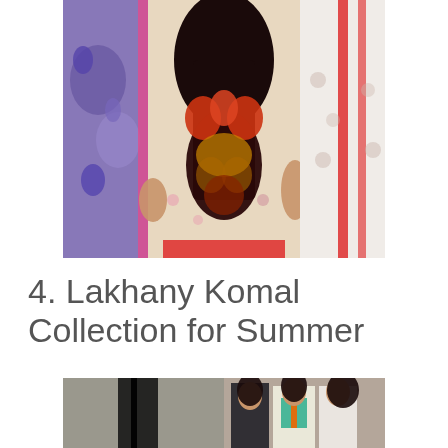[Figure (photo): Close-up photograph of a woman wearing an ornate embroidered traditional South Asian outfit (shalwar kameez) with a colorful floral and paisley embroidery on the chest area. She has long dark hair. Two other people flank her wearing different traditional outfits — one in purple/blue paisley print on the left and one in white with red accents on the right.]
4. Lakhany Komal Collection for Summer
[Figure (photo): Bottom portion of a fashion photo showing a composite of two images: on the left a single figure in a dark outfit partially visible, and on the right three young women standing together wearing colorful modern traditional outfits against a muted background.]